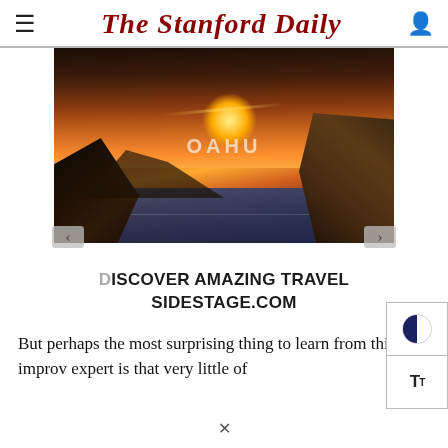The Stanford Daily
[Figure (photo): Sunset coastal landscape photo showing rocky cliffs, ocean water, and golden/orange sky with the text 'OAHU' overlaid in the center. Advertisement image for Sidestage.com travel.]
DISCOVER AMAZING TRAVEL SIDESTAGE.COM
But perhaps the most surprising thing to learn from this improv expert is that very little of